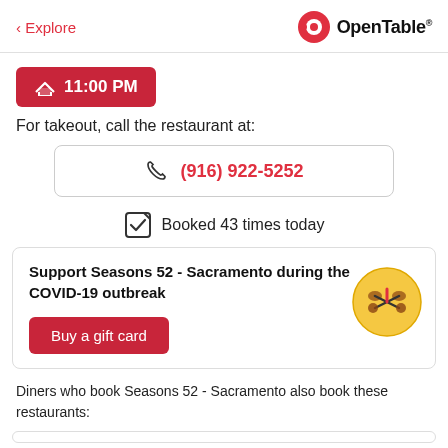< Explore   OpenTable
11:00 PM
For takeout, call the restaurant at:
(916) 922-5252
Booked 43 times today
Support Seasons 52 - Sacramento during the COVID-19 outbreak
Buy a gift card
Diners who book Seasons 52 - Sacramento also book these restaurants: